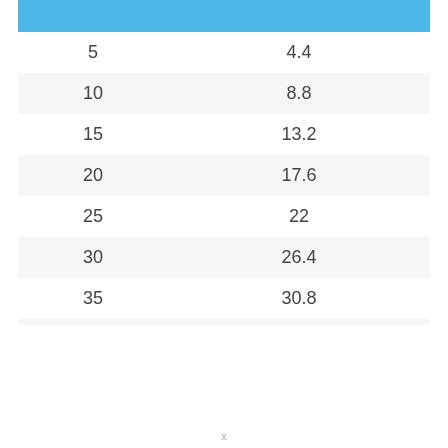|  |  |
| --- | --- |
| 5 | 4.4 |
| 10 | 8.8 |
| 15 | 13.2 |
| 20 | 17.6 |
| 25 | 22 |
| 30 | 26.4 |
| 35 | 30.8 |
x